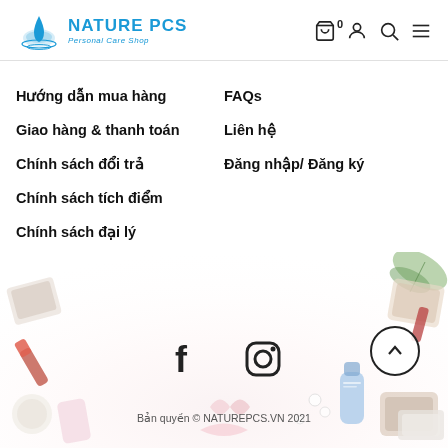NATURE PCS Personal Care Shop
Hướng dẫn mua hàng
Giao hàng & thanh toán
Chính sách đổi trả
Chính sách tích điểm
Chính sách đại lý
FAQs
Liên hệ
Đăng nhập/ Đăng ký
[Figure (photo): Background photo of cosmetics and skincare products spread out on a white surface with greenery]
Bản quyền © NATUREPCS.VN 2021